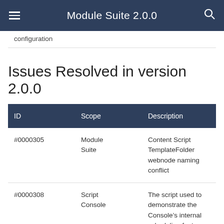Module Suite 2.0.0
configuration
Issues Resolved in version 2.0.0
| ID | Scope | Description |
| --- | --- | --- |
| #0000305 | Module Suite | Content Script TemplateFolder webnode naming conflict |
| #0000308 | Script Console | The script used to demonstrate the Console’s internal scheduling features contains an error. |
| #0000309 | Script Console | Java Classloader conflict running console as an |